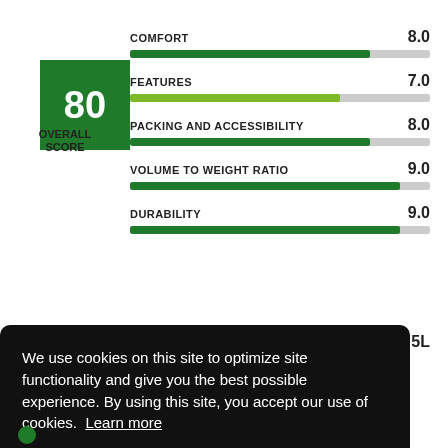[Figure (infographic): Overall score badge showing 80 in a green square with OVERALL SCORE label below]
[Figure (bar-chart): Rating Categories]
We use cookies on this site to optimize site functionality and give you the best possible experience. By using this site, you accept our use of cookies. Learn more
Got it!